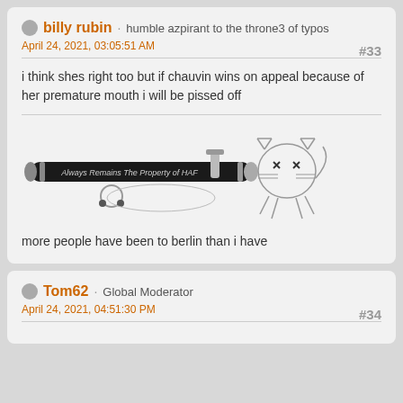billy rubin · humble azpirant to the throne3 of typos
April 24, 2021, 03:05:51 AM
#33
i think shes right too but if chauvin wins on appeal because of her premature mouth i will be pissed off
[Figure (photo): A black ballpoint pen with text 'Always Remains The Property of HAF' and a cartoon cat-like doodle on the right end]
more people have been to berlin than i have
Tom62 · Global Moderator
April 24, 2021, 04:51:30 PM
#34